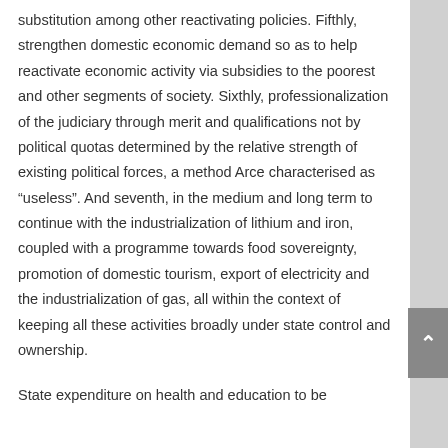substitution among other reactivating policies. Fifthly, strengthen domestic economic demand so as to help reactivate economic activity via subsidies to the poorest and other segments of society. Sixthly, professionalization of the judiciary through merit and qualifications not by political quotas determined by the relative strength of existing political forces, a method Arce characterised as “useless”. And seventh, in the medium and long term to continue with the industrialization of lithium and iron, coupled with a programme towards food sovereignty, promotion of domestic tourism, export of electricity and the industrialization of gas, all within the context of keeping all these activities broadly under state control and ownership.
State expenditure on health and education to be